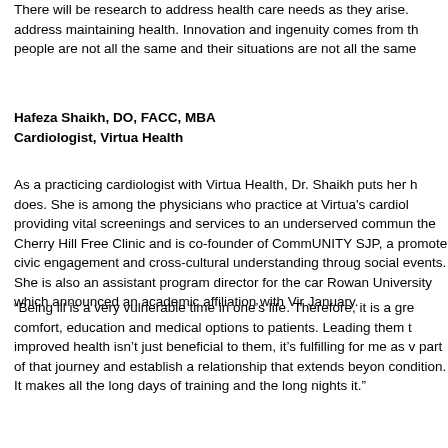There will be research to address health care needs as they arise. address maintaining health. Innovation and ingenuity comes from th people are not all the same and their situations are not all the same
Hafeza Shaikh, DO, FACC, MBA
Cardiologist, Virtua Health
As a practicing cardiologist with Virtua Health, Dr. Shaikh puts her h does. She is among the physicians who practice at Virtua's cardiol providing vital screenings and services to an underserved commun the Cherry Hill Free Clinic and is co-founder of CommUNITY SJP, a promote civic engagement and cross-cultural understanding throug social events. She is also an assistant program director for the car Rowan University which announced an academic affiliation with Vir January.
“Being ill is a very vulnerable time in one’s life. Therefore, it is a gre comfort, education and medical options to patients. Leading them t improved health isn’t just beneficial to them, it’s fulfilling for me as v part of that journey and establish a relationship that extends beyon condition. It makes all the long days of training and the long nights it.”